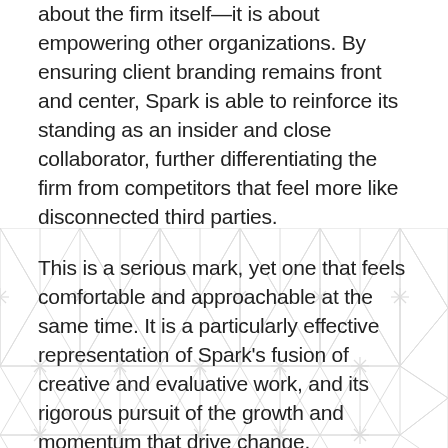about the firm itself—it is about empowering other organizations. By ensuring client branding remains front and center, Spark is able to reinforce its standing as an insider and close collaborator, further differentiating the firm from competitors that feel more like disconnected third parties.
This is a serious mark, yet one that feels comfortable and approachable at the same time. It is a particularly effective representation of Spark's fusion of creative and evaluative work, and its rigorous pursuit of the growth and momentum that drive change.
[Figure (illustration): Light gray geometric pattern of repeating triangles and asterisk/star shapes arranged in a grid, forming a decorative background pattern in the lower portion of the page.]